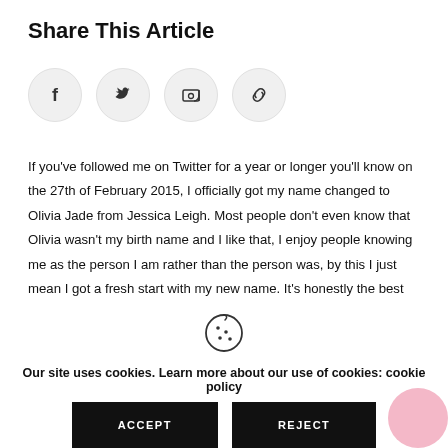Share This Article
[Figure (illustration): Four social sharing icon buttons in circular grey backgrounds: Facebook (f), Twitter (bird), Email (envelope), and Link (chain link)]
If you've followed me on Twitter for a year or longer you'll know on the 27th of February 2015, I officially got my name changed to Olivia Jade from Jessica Leigh. Most people don't even know that Olivia wasn't my birth name and I like that, I enjoy people knowing me as the person I am rather than the person was, by this I just mean I got a fresh start with my new name. It's honestly the best feeling changing your name to something you like and what suits
[Figure (illustration): Cookie icon (circle with dots representing a cookie)]
Our site uses cookies. Learn more about our use of cookies: cookie policy
ACCEPT    REJECT